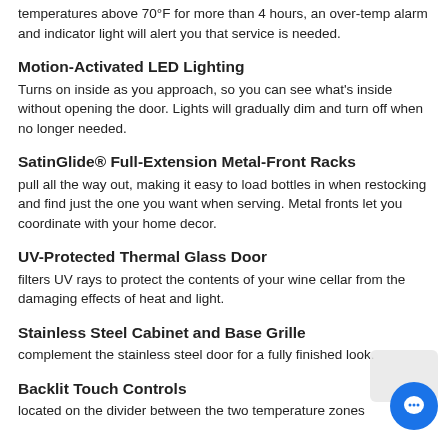temperatures above 70°F for more than 4 hours, an over-temp alarm and indicator light will alert you that service is needed.
Motion-Activated LED Lighting
Turns on inside as you approach, so you can see what's inside without opening the door. Lights will gradually dim and turn off when no longer needed.
SatinGlide® Full-Extension Metal-Front Racks
pull all the way out, making it easy to load bottles in when restocking and find just the one you want when serving. Metal fronts let you coordinate with your home decor.
UV-Protected Thermal Glass Door
filters UV rays to protect the contents of your wine cellar from the damaging effects of heat and light.
Stainless Steel Cabinet and Base Grille
complement the stainless steel door for a fully finished look.
Backlit Touch Controls
located on the divider between the two temperature zones